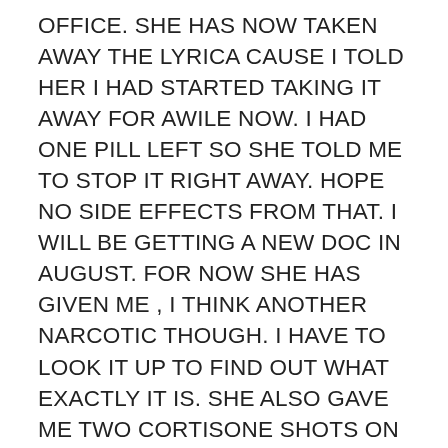OFFICE. SHE HAS NOW TAKEN AWAY THE LYRICA CAUSE I TOLD HER I HAD STARTED TAKING IT AWAY FOR AWILE NOW. I HAD ONE PILL LEFT SO SHE TOLD ME TO STOP IT RIGHT AWAY. HOPE NO SIDE EFFECTS FROM THAT. I WILL BE GETTING A NEW DOC IN AUGUST. FOR NOW SHE HAS GIVEN ME , I THINK ANOTHER NARCOTIC THOUGH. I HAVE TO LOOK IT UP TO FIND OUT WHAT EXACTLY IT IS. SHE ALSO GAVE ME TWO CORTISONE SHOTS ON BOTH THUMBS. HANDS JUST SO PAINFUL. WELL THAT'S IT FOR NOW, VERY TIRED AND IN PAIN. THANK YOU ALL AND THANK YOU SUE FOR YOUR CONCERN. I STILL DON'T HAVE ALL MY ANSWERS CAUSE I'M GETTING WORSE